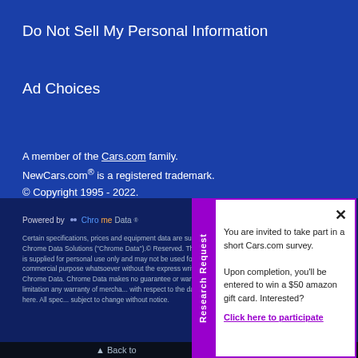Do Not Sell My Personal Information
Ad Choices
A member of the Cars.com family. NewCars.com® is a registered trademark. © Copyright 1995 - 2022.
Powered by Chrome Data
Certain specifications, prices and equipment data are supplied by Chrome Data Solutions ("Chrome Data").© Reserved. This information is supplied for personal use only and may not be used for any commercial purpose whatsoever without the express written consent of Chrome Data. Chrome Data makes no guarantee or warranty, either expressed or implied, including without limitation any warranty of merchantability or fitness for a particular purpose, with respect to the data presented here. All specifications, prices and equipment are subject to change without notice.
You are invited to take part in a short Cars.com survey. Upon completion, you'll be entered to win a $50 amazon gift card. Interested?
Click here to participate
▲ Back to top